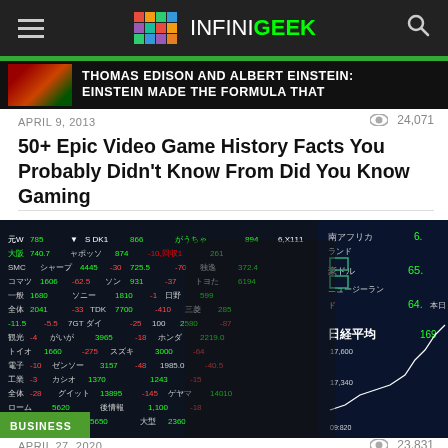INFINIGEEK navigation header
[Figure (photo): Partial image of Thomas Edison and Albert Einstein article thumbnail with text overlay]
APRIL 9, 2013
24,071
50+ Epic Video Game History Facts You Probably Didn't Know From Did You Know Gaming
[Figure (photo): Two people wearing face masks standing in front of a Japanese stock market board showing various stock prices and ticker data, labeled BUSINESS]
APRIL 27, 2020
23,831